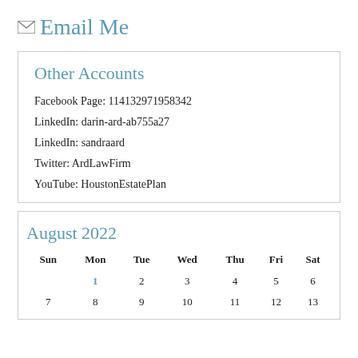Email Me
Other Accounts
Facebook Page: 114132971958342
LinkedIn: darin-ard-ab755a27
LinkedIn: sandraard
Twitter: ArdLawFirm
YouTube: HoustonEstatePlan
August 2022
| Sun | Mon | Tue | Wed | Thu | Fri | Sat |
| --- | --- | --- | --- | --- | --- | --- |
|  | 1 | 2 | 3 | 4 | 5 | 6 |
| 7 | 8 | 9 | 10 | 11 | 12 | 13 |